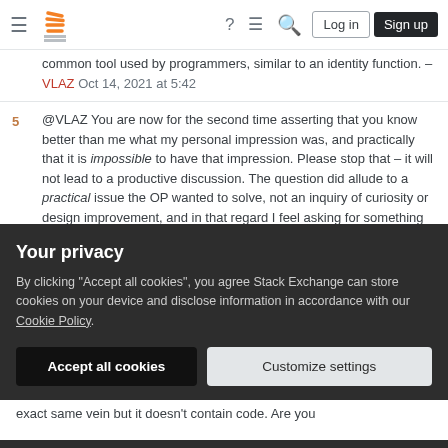Stack Exchange navigation bar with hamburger menu, logo, help, chat, search icons, Log in and Sign up buttons
common tool used by programmers, similar to an identity function. – VLAZ Oct 14, 2021 at 5:42
@VLAZ You are now for the second time asserting that you know better than me what my personal impression was, and practically that it is impossible to have that impression. Please stop that – it will not lead to a productive discussion. The question did allude to a practical issue the OP wanted to solve, not an inquiry of curiosity or design improvement, and in that regard I feel asking for something they already have is… odd. – MisterMiyagi Oct 14, 2021 at 6:45
@VLAZ More like 30 lines of code. (Or one really long line.) – khelwood Oct 14, 2021 at 6:51
Your privacy
By clicking "Accept all cookies", you agree Stack Exchange can store cookies on your device and disclose information in accordance with our Cookie Policy.
Accept all cookies
Customize settings
exact same vein but it doesn't contain code. Are you